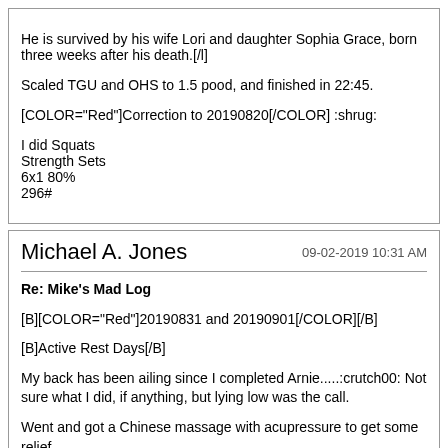He is survived by his wife Lori and daughter Sophia Grace, born three weeks after his death.[/l]

Scaled TGU and OHS to 1.5 pood, and finished in 22:45.

[COLOR="Red"]Correction to 20190820[/COLOR] :shrug:

I did Squats
Strength Sets
6x1 80%
296#
Michael A. Jones | 09-02-2019 10:31 AM

Re: Mike's Mad Log

[B][COLOR="Red"]20190831 and 20190901[/COLOR][/B]

[B]Active Rest Days[/B]

My back has been ailing since I completed Arnie.....:crutch00: Not sure what I did, if anything, but lying low was the call.

Went and got a Chinese massage with acupressure to get some relief.

[B][COLOR="red"]20190902[/COLOR][/B]

My back is still a bid sore but worked out anyway.